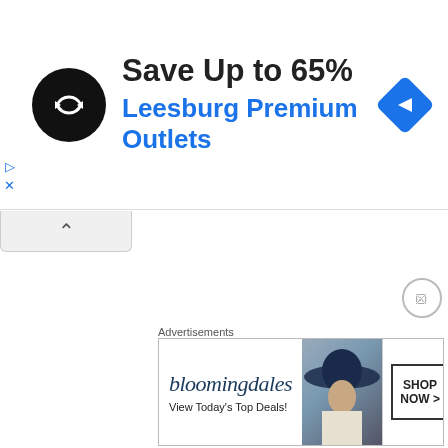[Figure (screenshot): Advertisement banner: circular black icon with white double-arrow symbol, bold text 'Save Up to 65%' and blue text 'Leesburg Premium Outlets', blue diamond navigation icon on right]
[Figure (screenshot): Collapse/minimize tab with upward caret arrow below the ad banner]
[Figure (screenshot): Main white content area of the webpage]
[Figure (screenshot): Close (X) button circle at bottom right]
Advertisements
[Figure (screenshot): Bloomingdale's bottom advertisement banner: logo text 'bloomingdales', tagline 'View Today's Top Deals!', woman in hat photo, 'SHOP NOW >' button]